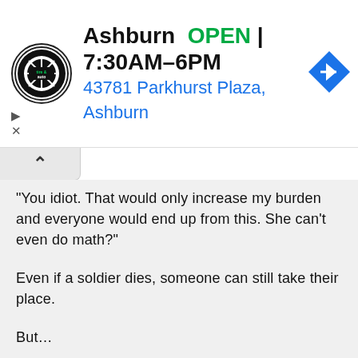[Figure (screenshot): Ad banner for Ashburn tire and auto shop showing logo, OPEN status, hours 7:30AM–6PM, address 43781 Parkhurst Plaza Ashburn, and a blue navigation arrow icon]
“You idiot. That would only increase my burden and everyone would end up from this. She can’t even do math?”
Even if a soldier dies, someone can still take their place.
But…
I look at Lily and Ginebia who are sleeping at both of my sides.
Lily who is the child of the emperor, yet does her best for everyone.